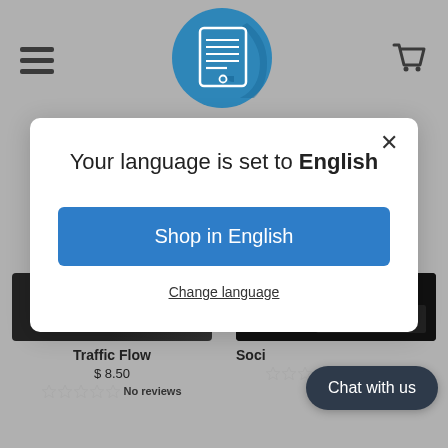[Figure (screenshot): Mobile e-commerce website background with hamburger menu icon on left, circular blue document/page logo in center, and shopping cart icon on right]
Your language is set to English
Shop in English
Change language
A Flood Of Traffic To Your Website
Traffic Flow
$ 8.50
No reviews
Soci
No reviews
Chat with us